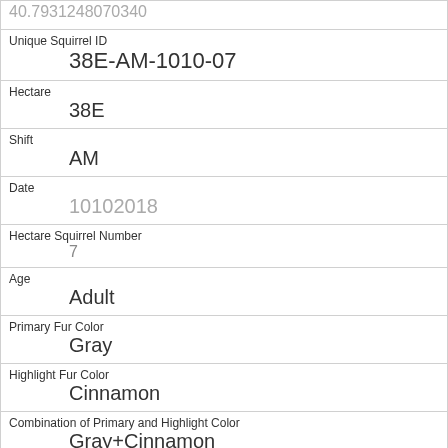| 40.7931248070340 |
| Unique Squirrel ID | 38E-AM-1010-07 |
| Hectare | 38E |
| Shift | AM |
| Date | 10102018 |
| Hectare Squirrel Number | 7 |
| Age | Adult |
| Primary Fur Color | Gray |
| Highlight Fur Color | Cinnamon |
| Combination of Primary and Highlight Color | Gray+Cinnamon |
| Color notes |  |